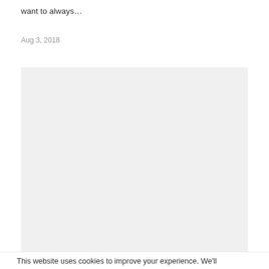want to always…
Aug 3, 2018
[Figure (photo): A large light gray placeholder image block, approximately square, with no visible content.]
This website uses cookies to improve your experience. We'll…